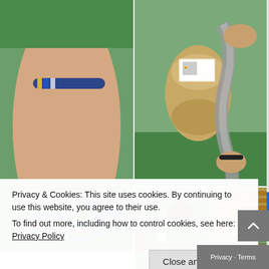[Figure (photo): Close-up collage of children's craft activities: top-left shows a wrist with colorful braided yarn bracelets on green sleeve; top-right shows hands holding skeins of tan and gray yarn with a label; bottom-right shows children in green shirts working at desks in a classroom. A watermark '@LetsPlayOC' is visible.]
Privacy & Cookies: This site uses cookies. By continuing to use this website, you agree to their use.
To find out more, including how to control cookies, see here: Privacy Policy
Close and accept
Privacy · Terms